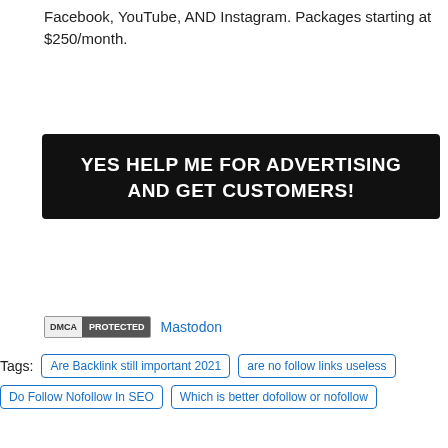Facebook, YouTube, AND Instagram. Packages starting at $250/month.
[Figure (other): Black CTA button with white bold text: YES HELP ME FOR ADVERTISING AND GET CUSTOMERS!]
DMCA PROTECTED   Mastodon
Tags: Are Backlink still important 2021 | are no follow links useless | Do Follow Nofollow In SEO | Which is better dofollow or nofollow
[Figure (photo): Profile photo of a man in a white shirt]
I am Internet Research and Founder this website.
PREVIOUS  Know The Best Free ... | NEXT  What Is Digital Advertising? It is ...